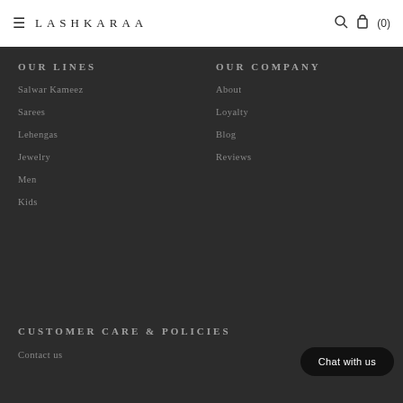LASHKARAA (0)
OUR LINES
Salwar Kameez
Sarees
Lehengas
Jewelry
Men
Kids
OUR COMPANY
About
Loyalty
Blog
Reviews
CUSTOMER CARE & POLICIES
Contact us
Chat with us